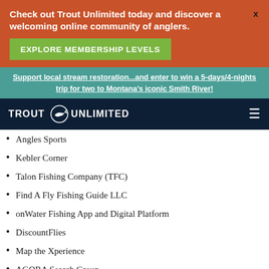Check out Trout Unlimited today and discover a welcoming online community of anglers.
EXPLORE MEMBERSHIP LEVELS
Support local stream restoration...and enter to win a 5-days/4-nights trip for two to Montana's iconic Smith River!
TROUT UNLIMITED
Angles Sports
Kebler Corner
Talon Fishing Company (TFC)
Find A Fly Fishing Guide LLC
onWater Fishing App and Digital Platform
DiscountFlies
Map the Xperience
AGORA Search Group
Ramble House
Big Trout Brewing Company
Angler's Corner